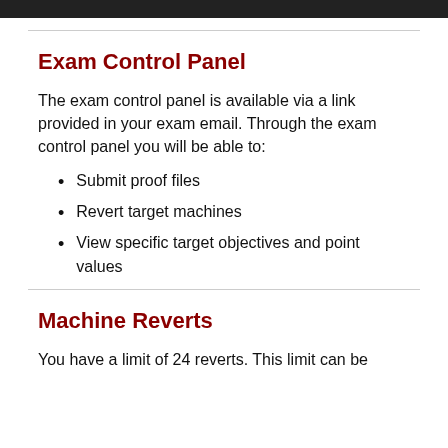Exam Control Panel
The exam control panel is available via a link provided in your exam email. Through the exam control panel you will be able to:
Submit proof files
Revert target machines
View specific target objectives and point values
Machine Reverts
You have a limit of 24 reverts. This limit can be